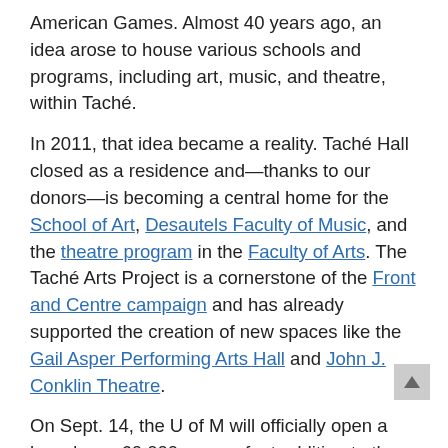American Games. Almost 40 years ago, an idea arose to house various schools and programs, including art, music, and theatre, within Taché.
In 2011, that idea became a reality. Taché Hall closed as a residence and—thanks to our donors—is becoming a central home for the School of Art, Desautels Faculty of Music, and the theatre program in the Faculty of Arts. The Taché Arts Project is a cornerstone of the Front and Centre campaign and has already supported the creation of new spaces like the Gail Asper Performing Arts Hall and John J. Conklin Theatre.
On Sept. 14, the U of M will officially open a brand new 60,000 square foot addition to the Taché Arts Complex. All are welcome to attend to explore stunning new spaces and enjoy live performances by Desautels Faculty of Music students, faculty and alumni.
There is no cost for this event but space is limited and